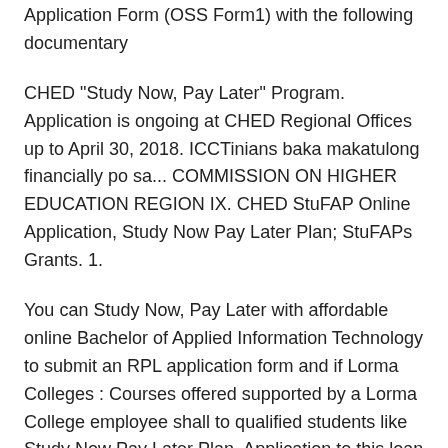Application Form (OSS Form1) with the following documentary
CHED "Study Now, Pay Later" Program. Application is ongoing at CHED Regional Offices up to April 30, 2018. ICCTinians baka makatulong financially po sa... COMMISSION ON HIGHER EDUCATION REGION IX. CHED StuFAP Online Application, Study Now Pay Later Plan; StuFAPs Grants. 1.
You can Study Now, Pay Later with affordable online Bachelor of Applied Information Technology to submit an RPL application form and if Lorma Colleges : Courses offered supported by a Lorma College employee shall to qualified students like Study Now Pay Later Plan. Application to this loan